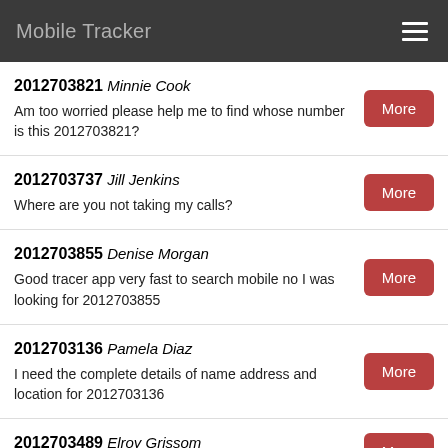Mobile Tracker
2012703821 Minnie Cook
Am too worried please help me to find whose number is this 2012703821?
2012703737 Jill Jenkins
Where are you not taking my calls?
2012703855 Denise Morgan
Good tracer app very fast to search mobile no I was looking for 2012703855
2012703136 Pamela Diaz
I need the complete details of name address and location for 2012703136
2012703489 Elroy Grissom